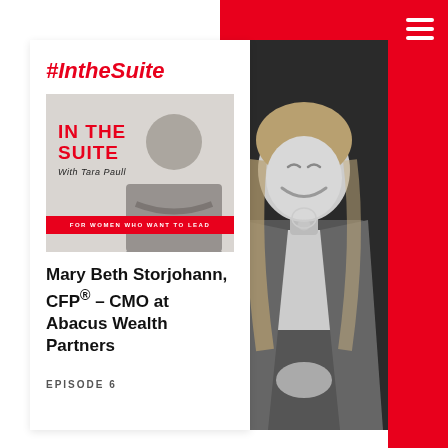#IntheSuite
[Figure (illustration): In The Suite podcast cover showing a woman with arms crossed, red IN THE SUITE text, subtitle 'With Tara Paull', and red banner reading 'FOR WOMEN WHO WANT TO LEAD']
Mary Beth Storjohann, CFP® – CMO at Abacus Wealth Partners
EPISODE 6
[Figure (photo): Black and white portrait photo of a smiling blonde woman in a blazer and white top, laughing and looking upward]